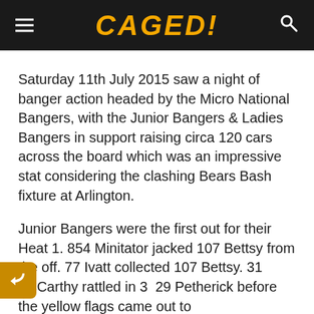CAGED!
Saturday 11th July 2015 saw a night of banger action headed by the Micro National Bangers, with the Junior Bangers & Ladies Bangers in support raising circa 120 cars across the board which was an impressive stat considering the clashing Bears Bash fixture at Arlington.
Junior Bangers were the first out for their Heat 1. 854 Minitator jacked 107 Bettsy from the off. 77 Ivatt collected 107 Bettsy. 31 McCarthy rattled in 329 Petherick before the yellow flags came out to assist the stranded 308 Richardson. The restart